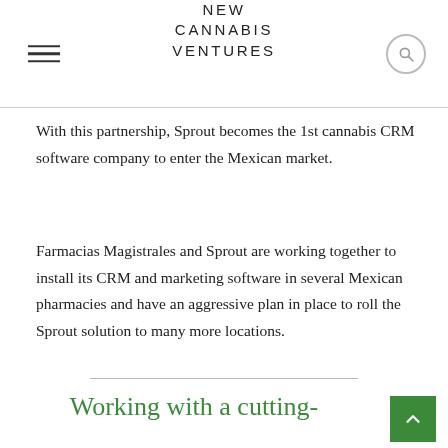NEW CANNABIS VENTURES
With this partnership, Sprout becomes the 1st cannabis CRM software company to enter the Mexican market.
Farmacias Magistrales and Sprout are working together to install its CRM and marketing software in several Mexican pharmacies and have an aggressive plan in place to roll the Sprout solution to many more locations.
Working with a cutting-